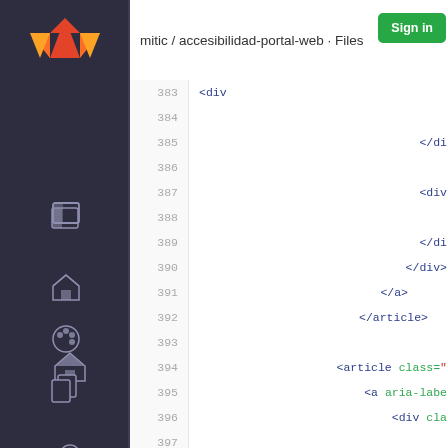mitic / accesibilidad-portal-web · Files
[Figure (screenshot): GitLab sidebar with navigation icons on dark background]
383  <div
384
385  </di
386
387  <div
388
389  </di
390  </div>
391  </a>
392  </article>
393
394  <article class="
395  <a aria-labe
396  <div cla
397
398
399  </div>
400
401  <div cla
402  <div
403